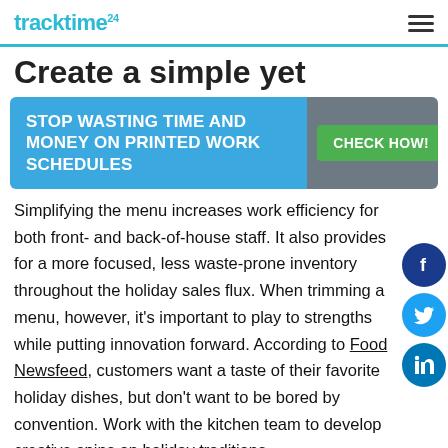tracktime24
Create a simple yet
[Figure (infographic): Banner advertisement: 'STOP WASTING TIME AND MONEY ON PRINTED WORK SCHEDULES' with a 'CHECK HOW!' green button on grey background]
Simplifying the menu increases work efficiency for both front- and back-of-house staff. It also provides for a more focused, less waste-prone inventory throughout the holiday sales flux. When trimming a menu, however, it's important to play to strengths while putting innovation forward. According to Food Newsfeed, customers want a taste of their favorite holiday dishes, but don't want to be bored by convention. Work with the kitchen team to develop creative spins on holiday traditions